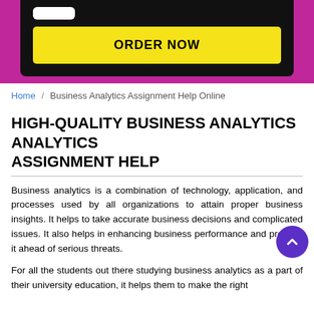[Figure (screenshot): Dark device/screen area with a white rounded rectangle and a yellow ORDER NOW button on a purple/magenta background]
Home / Business Analytics Assignment Help Online
HIGH-QUALITY BUSINESS ANALYTICS ASSIGNMENT HELP
Business analytics is a combination of technology, application, and processes used by all organizations to attain proper business insights. It helps to take accurate business decisions and complicated issues. It also helps in enhancing business performance and protects it ahead of serious threats.
For all the students out there studying business analytics as a part of their university education, it helps them to make the right